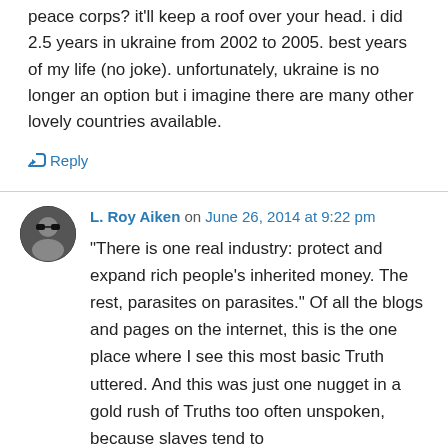peace corps? it'll keep a roof over your head. i did 2.5 years in ukraine from 2002 to 2005. best years of my life (no joke). unfortunately, ukraine is no longer an option but i imagine there are many other lovely countries available.
↳ Reply
L. Roy Aiken on June 26, 2014 at 9:22 pm
“There is one real industry: protect and expand rich people’s inherited money. The rest, parasites on parasites.” Of all the blogs and pages on the internet, this is the one place where I see this most basic Truth uttered. And this was just one nugget in a gold rush of Truths too often unspoken, because slaves tend to